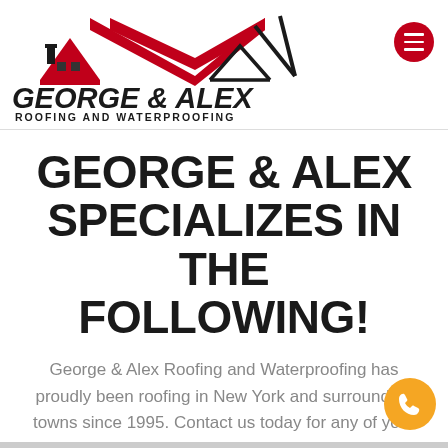[Figure (logo): George & Alex Roofing and Waterproofing logo with red roof illustration and bold black text]
GEORGE & ALEX SPECIALIZES IN THE FOLLOWING!
George & Alex Roofing and Waterproofing has proudly been roofing in New York and surrounding towns since 1995. Contact us today for any of your roofing